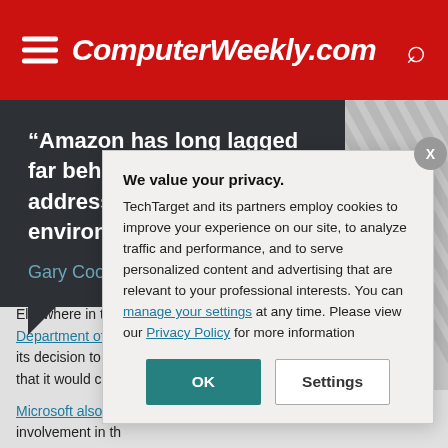ComputerWeekly.com
“Amazon has long lagged far behind its peers on addressing its environmental impact”
Gary Cook,
Elsewhere in the… a highly controve… Department of D… its decision to co… that it would con…
Microsoft also fa… involvement in th…
We value your privacy.
TechTarget and its partners employ cookies to improve your experience on our site, to analyze traffic and performance, and to serve personalized content and advertising that are relevant to your professional interests. You can manage your settings at any time. Please view our Privacy Policy for more information